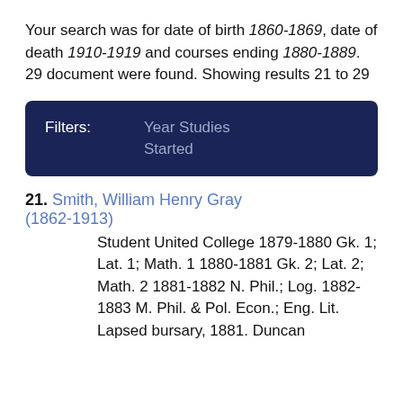Your search was for date of birth 1860-1869, date of death 1910-1919 and courses ending 1880-1889. 29 document were found. Showing results 21 to 29
| Filters: | Year Studies Started |
| --- | --- |
21. Smith, William Henry Gray (1862-1913) Student United College 1879-1880 Gk. 1; Lat. 1; Math. 1 1880-1881 Gk. 2; Lat. 2; Math. 2 1881-1882 N. Phil.; Log. 1882-1883 M. Phil. & Pol. Econ.; Eng. Lit. Lapsed bursary, 1881. Duncan